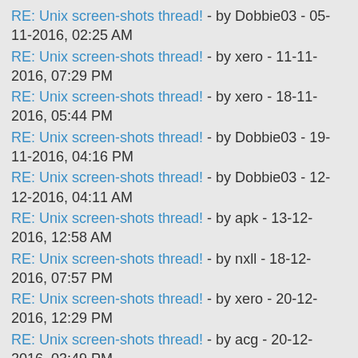RE: Unix screen-shots thread! - by Dobbie03 - 05-11-2016, 02:25 AM
RE: Unix screen-shots thread! - by xero - 11-11-2016, 07:29 PM
RE: Unix screen-shots thread! - by xero - 18-11-2016, 05:44 PM
RE: Unix screen-shots thread! - by Dobbie03 - 19-11-2016, 04:16 PM
RE: Unix screen-shots thread! - by Dobbie03 - 12-12-2016, 04:11 AM
RE: Unix screen-shots thread! - by apk - 13-12-2016, 12:58 AM
RE: Unix screen-shots thread! - by nxll - 18-12-2016, 07:57 PM
RE: Unix screen-shots thread! - by xero - 20-12-2016, 12:29 PM
RE: Unix screen-shots thread! - by acg - 20-12-2016, 03:49 PM
RE: Unix screen-shots thread! - by xcko - 20-12-2016, 08:34 PM
RE: Unix screen-shots thread! - by josuah - 21-12-2016, 08:29 AM
RE: Unix screen-shots thread! - by tudurom - 21-12-2016, 11:21 AM